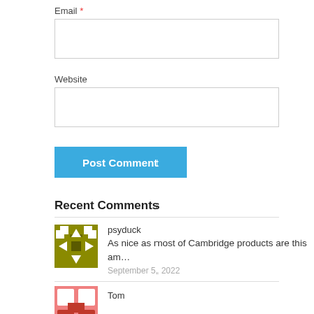Email *
Website
Post Comment
Recent Comments
psyduck
As nice as most of Cambridge products are this am…
September 5, 2022
Tom